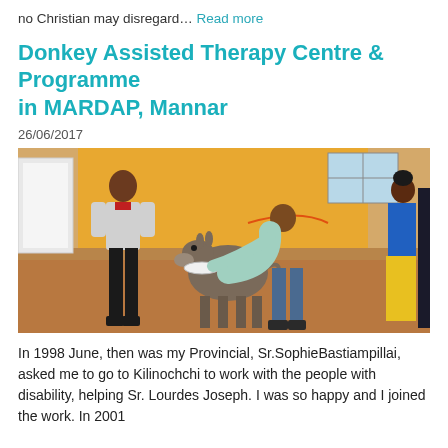no Christian may disregard… Read more
Donkey Assisted Therapy Centre & Programme in MARDAP, Mannar
26/06/2017
[Figure (photo): Photo of two people with a small donkey inside a room with orange/yellow walls and wood-chip floor. A woman in a blue and yellow sari stands at the right edge. A person in a white shirt with red collar stands to the left, and another person in a light blue shirt bends toward the donkey in the center.]
In 1998 June, then was my Provincial, Sr.SophieBastiampillai, asked me to go to Kilinochchi to work with the people with disability, helping Sr. Lourdes Joseph. I was so happy and I joined the work. In 2001